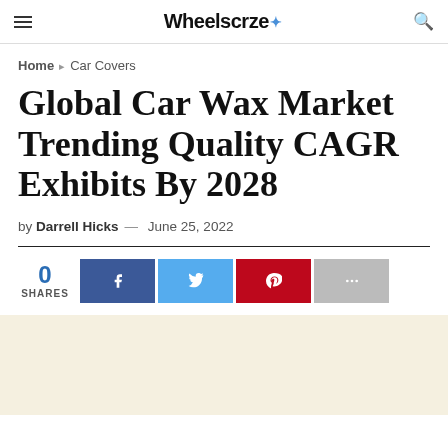Wheelscrze
Home > Car Covers
Global Car Wax Market Trending Quality CAGR Exhibits By 2028
by Darrell Hicks — June 25, 2022
[Figure (other): Social share bar with 0 shares and four social media buttons: Facebook (blue), Twitter (light blue), Pinterest (red), and a grey more button]